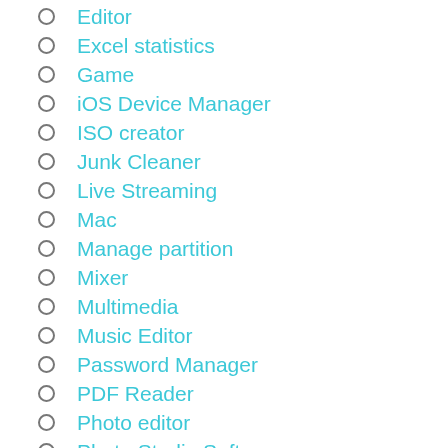Editor
Excel statistics
Game
iOS Device Manager
ISO creator
Junk Cleaner
Live Streaming
Mac
Manage partition
Mixer
Multimedia
Music Editor
Password Manager
PDF Reader
Photo editor
Photo Studio Software